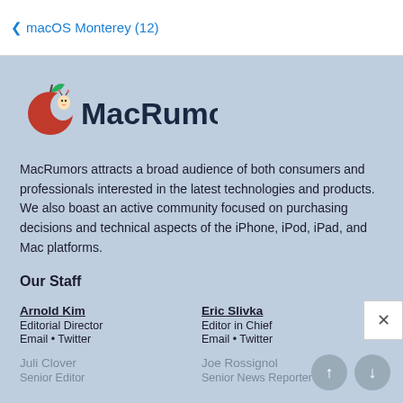< macOS Monterey (12)
[Figure (logo): MacRumors logo: red apple with a bite and a worm, followed by bold dark navy text 'MacRumors']
MacRumors attracts a broad audience of both consumers and professionals interested in the latest technologies and products. We also boast an active community focused on purchasing decisions and technical aspects of the iPhone, iPod, iPad, and Mac platforms.
Our Staff
Arnold Kim
Editorial Director
Email • Twitter
Eric Slivka
Editor in Chief
Email • Twitter
Juli Clover
Senior Editor
Joe Rossignol
Senior News Reporter